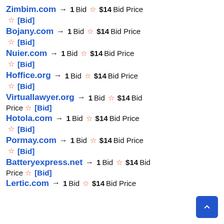Zimbim.com → 1 Bid ☆ $14 Bid Price ☆ [Bid]
Bojany.com → 1 Bid ☆ $14 Bid Price ☆ [Bid]
Nuier.com → 1 Bid ☆ $14 Bid Price ☆ [Bid]
Hoffice.org → 1 Bid ☆ $14 Bid Price ☆ [Bid]
Virtuallawyer.org → 1 Bid ☆ $14 Bid Price ☆ [Bid]
Hotola.com → 1 Bid ☆ $14 Bid Price ☆ [Bid]
Pormay.com → 1 Bid ☆ $14 Bid Price ☆ [Bid]
Batteryexpress.net → 1 Bid ☆ $14 Bid Price ☆ [Bid]
Lertic.com → 1 Bid ☆ $14 Bid Price